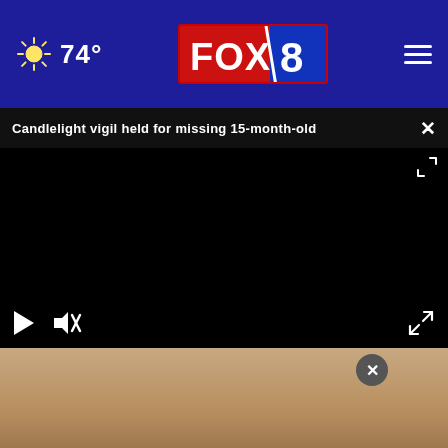74° FOX 8
Candlelight vigil held for missing 15-month-old
[Figure (screenshot): Black video player with play and mute buttons, fullscreen icon]
[Figure (photo): Close-up photo of a person, partially visible]
Mustang Extreme Geosynthetic Liner Systems Learn More